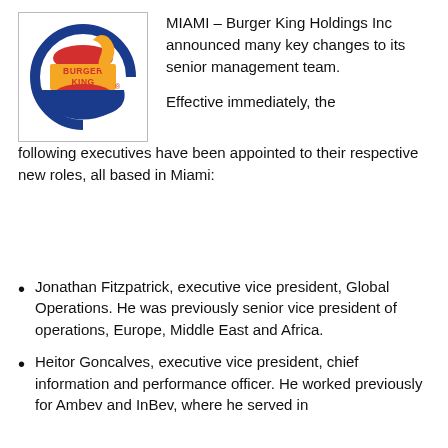[Figure (logo): Burger King logo — circular logo with blue ring, red and yellow bun with flame, text 'BURGER KING' in red on yellow background with registered trademark symbol]
MIAMI – Burger King Holdings Inc announced many key changes to its senior management team.
Effective immediately, the following executives have been appointed to their respective new roles, all based in Miami:
Jonathan Fitzpatrick, executive vice president, Global Operations. He was previously senior vice president of operations, Europe, Middle East and Africa.
Heitor Goncalves, executive vice president, chief information and performance officer. He worked previously for Ambev and InBev, where he served in